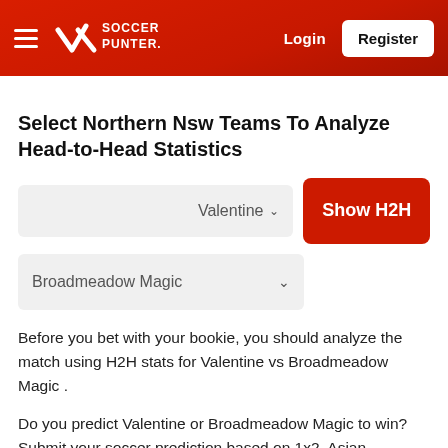Soccer Punter — Login | Register
Select Northern Nsw Teams To Analyze Head-to-Head Statistics
Valentine ▾ [dropdown] | Show H2H [button]
Broadmeadow Magic ▾ [dropdown]
Before you bet with your bookie, you should analyze the match using H2H stats for Valentine vs Broadmeadow Magic .
Do you predict Valentine or Broadmeadow Magic to win? Submit your soccer prediction based on 1x2, Asian Handicap, Total Goals Over/Under, HT/FT, DNB, Double Chance or Correct Score to Tipsters Competition and